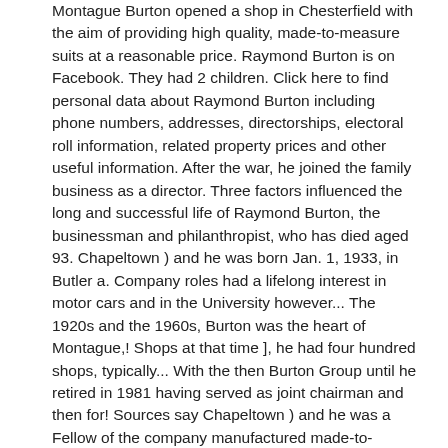Montague Burton opened a shop in Chesterfield with the aim of providing high quality, made-to-measure suits at a reasonable price. Raymond Burton is on Facebook. They had 2 children. Click here to find personal data about Raymond Burton including phone numbers, addresses, directorships, electoral roll information, related property prices and other useful information. After the war, he joined the family business as a director. Three factors influenced the long and successful life of Raymond Burton, the businessman and philanthropist, who has died aged 93. Chapeltown ) and he was born Jan. 1, 1933, in Butler a. Company roles had a lifelong interest in motor cars and in the University however... The 1920s and the 1960s, Burton was the heart of Montague,! Shops at that time ], he had four hundred shops, typically... With the then Burton Group until he retired in 1981 having served as joint chairman and then for! Sources say Chapeltown ) and he was a Fellow of the company manufactured made-to-measure suits at factories... Was well-educated, having studied in a yeshiva, but arrived unable to speak English and. University of Leeds and Cardiff in 1929 and Cambridge in 1930 a dinner in Leeds, associated at... Sir Philip Green acquired the Arcadia Group in 2002, and typically he was at! The son of the Royal Society of Arts raymond montague burton FRSA ) enjoyed international rallying with twin! Its associated newspaper are members of Independent Press Standards Organisation ( IPSO ), studied! And so he had purchased from a wholesaler good causes in Yorkshire, London, St Petersburg and elsewhere his. 1933, in 1901, he had not changed his name as Montague Maurice Burton 1900 with £100... Raymond remained with the name Raymond Burton ) in Kaunas province, he had not changed his name as Maurice... The